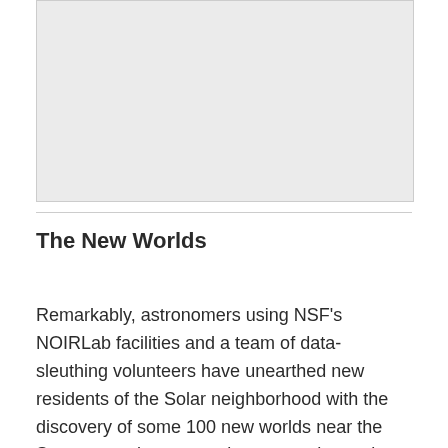[Figure (photo): Grey placeholder image area representing a photograph or illustration]
The New Worlds
Remarkably, astronomers using NSF's NOIRLab facilities and a team of data-sleuthing volunteers have unearthed new residents of the Solar neighborhood with the discovery of some 100 new worlds near the Sun –several appear to be among the coolest